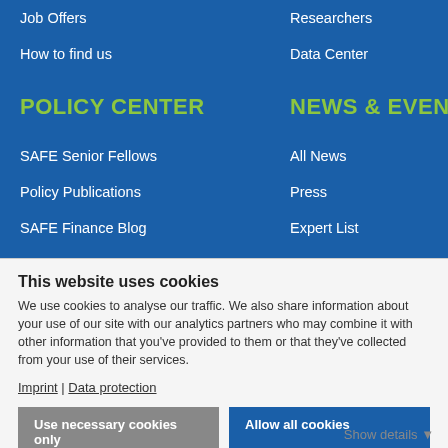Job Offers
Researchers
How to find us
Data Center
POLICY CENTER
NEWS & EVENTS
SAFE Senior Fellows
All News
Policy Publications
Press
SAFE Finance Blog
Expert List
Policy Center Team
This website uses cookies
We use cookies to analyse our traffic. We also share information about your use of our site with our analytics partners who may combine it with other information that you've provided to them or that they've collected from your use of their services.
Imprint | Data protection
Use necessary cookies only
Allow all cookies
Show details ▾